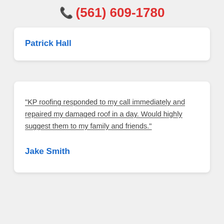📞 (561) 609-1780
Patrick Hall
“KP roofing responded to my call immediately and repaired my damaged roof in a day. Would highly suggest them to my family and friends.”
Jake Smith